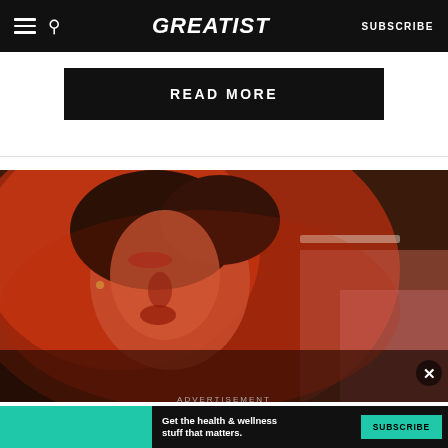GREATIST — SUBSCRIBE
READ MORE
[Figure (photo): Woman lying down under red light therapy lamp with eyes closed, wearing a pink top]
ADVERTISEMENT
Get the health & wellness stuff that matters. SUBSCRIBE